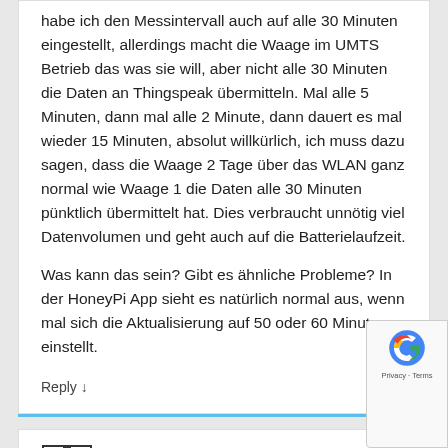habe ich den Messintervall auch auf alle 30 Minuten eingestellt, allerdings macht die Waage im UMTS Betrieb das was sie will, aber nicht alle 30 Minuten die Daten an Thingspeak übermitteln. Mal alle 5 Minuten, dann mal alle 2 Minute, dann dauert es mal wieder 15 Minuten, absolut willkürlich, ich muss dazu sagen, dass die Waage 2 Tage über das WLAN ganz normal wie Waage 1 die Daten alle 30 Minuten pünktlich übermittelt hat. Dies verbraucht unnötig viel Datenvolumen und geht auch auf die Batterielaufzeit.
Was kann das sein? Gibt es ähnliche Probleme? In der HoneyPi App sieht es natürlich normal aus, wenn mal sich die Aktualisierung auf 50 oder 60 Minuten einstellt.
Reply ↓
Christian
2. February 2019